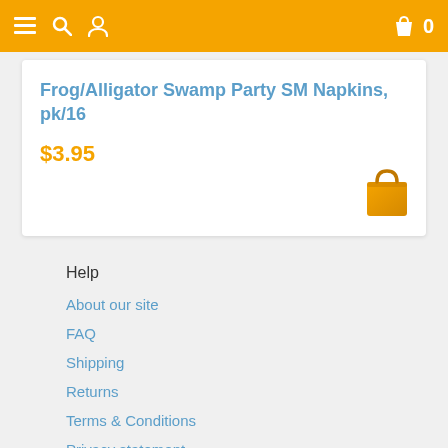Navigation bar with menu, search, user, cart and 0
Frog/Alligator Swamp Party SM Napkins, pk/16
$3.95
[Figure (illustration): Orange shopping bag icon]
Help
About our site
FAQ
Shipping
Returns
Terms & Conditions
Privacy statement
Contact us
Contact us